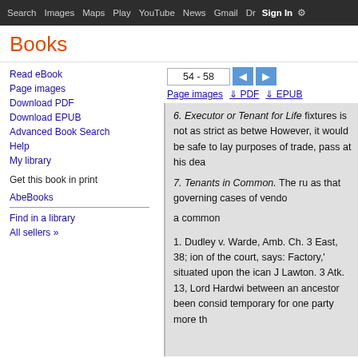Search  Images  Maps  Play  YouTube  News  Gmail  Drive  More  Sign in  [settings]
Books
54 - 58
Page images  PDF  EPUB
Read eBook
Page images
Download PDF
Download EPUB
Advanced Book Search
Help
My library
Get this book in print
AbeBooks
Find in a library
All sellers »
6. Executor or Tenant for Life fixtures is not as strict as between However, it would be safe to lay purposes of trade, pass at his dea
7. Tenants in Common. The ru as that governing cases of vendo
a common
1. Dudley v. Warde, Amb. Ch. 3 East, 38; ion of the court, says: Factory,' situated upon the ican J Lawton. 3 Atk. 13, Lord Hardwi between an ancestor been consid temporary for one party more th